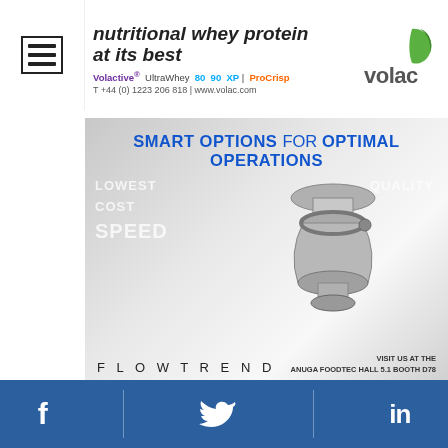[Figure (screenshot): Hamburger menu icon (three horizontal lines in a box) on left navigation panel]
[Figure (screenshot): Volac nutritional whey protein advertisement: 'nutritional whey protein at its best', Volactive UltraWhey 80 90 XP ProCrisp, T +44 (0) 1223 206 818, www.volac.com, Volac logo with green leaf]
[Figure (screenshot): Flowtrend advertisement: 'SMART OPTIONS FOR OPTIMAL OPERATIONS', keywords LOWEST COST, QUALITY, SPEED, steel pipe fitting/valve image, FLOWTREND logo, VISIT US AT THE ANUGA FOODTEC HALL 5.1 BOOTH D78]
[Figure (screenshot): Kercoat advertisement on dark background: WITHOUT KERCOAT(R), AFTER 25 CYCLES, partial bottle image]
[Figure (screenshot): PureLine PQ advertisement partial view on blue background]
f  [Twitter bird]  in